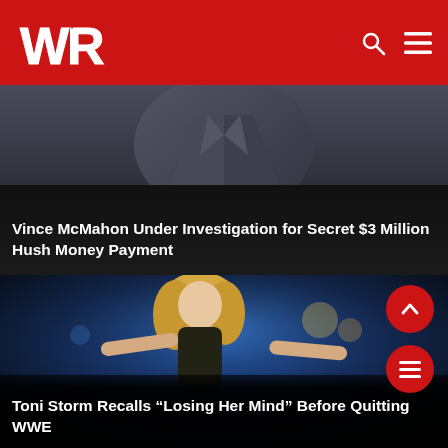WR (Wrestling Republic logo)
[Figure (photo): Dark background photo of a man in a suit and tie, partially cropped, upper body visible]
Vince McMahon Under Investigation for Secret $3 Million Hush Money Payment
[Figure (photo): Photo of Toni Storm, a blonde female WWE wrestler performing in the ring under blue stage lighting]
Toni Storm Recalls “Losing Her Mind” Before Quitting WWE